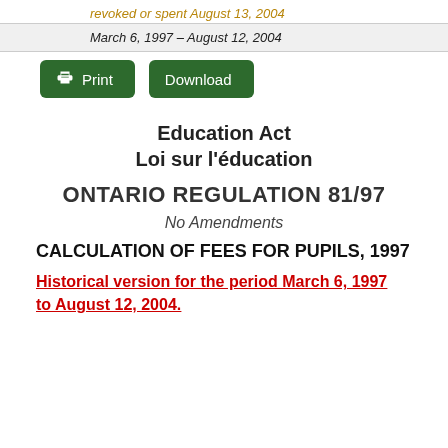revoked or spent August 13, 2004
March 6, 1997 – August 12, 2004
[Figure (other): Print and Download buttons]
Education Act
Loi sur l'éducation
ONTARIO REGULATION 81/97
No Amendments
CALCULATION OF FEES FOR PUPILS, 1997
Historical version for the period March 6, 1997 to August 12, 2004.